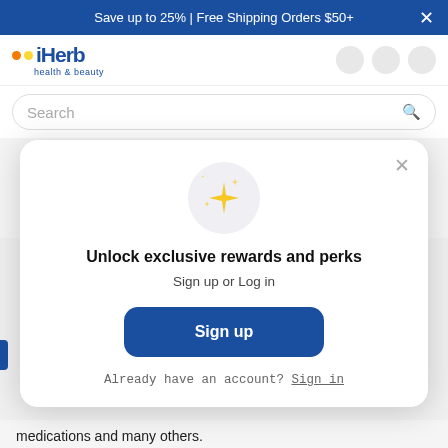Save up to 25% | Free Shipping Orders $50+
[Figure (logo): iHerb health & beauty logo with orange and yellow dots]
Search
$26.70  $33.00
Add to Cart
Unlock exclusive rewards and perks
Sign up or Log in
Sign up
Already have an account? Sign in
medications and many others.